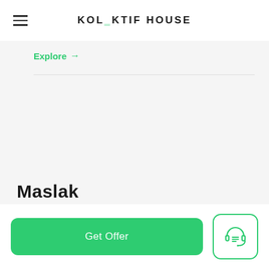KOLEKTIF HOUSE
Explore →
Maslak
Get Offer
[Figure (illustration): Customer support / headset icon in green outline style inside a rounded rectangle box]